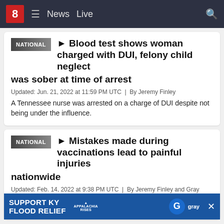8 | News | Live
NATIONAL
Blood test shows woman charged with DUI, felony child neglect was sober at time of arrest
Updated: Jun. 21, 2022 at 11:59 PM UTC  |  By Jeremy Finley
A Tennessee nurse was arrested on a charge of DUI despite not being under the influence.
NATIONAL
Mistakes made during vaccinations lead to painful injuries nationwide
Updated: Feb. 14, 2022 at 9:38 PM UTC  |  By Jeremy Finley and Gray News staff
Hundreds said they w...
[Figure (screenshot): Advertisement banner: SUPPORT KY FLOOD RELIEF with Appalachia Rises and Gray logos]